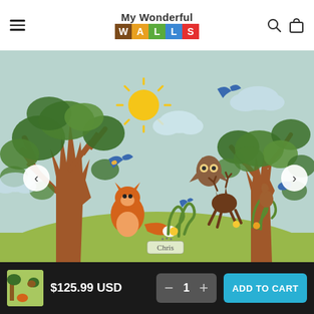My Wonderful WALLS
[Figure (illustration): Woodland wall decal scene with trees, fox, deer, owl, birds, sun, clouds, flowers and a name label 'Chris' on a light blue and green background]
$125.99 USD
1
ADD TO CART